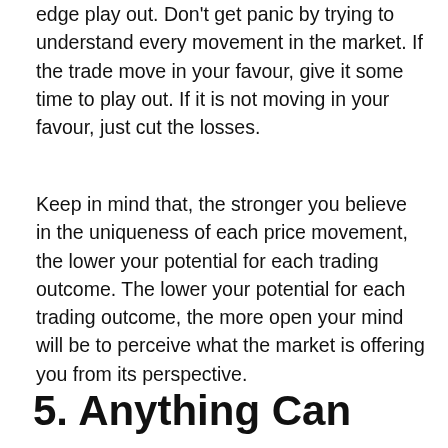edge play out. Don't get panic by trying to understand every movement in the market. If the trade move in your favour, give it some time to play out. If it is not moving in your favour, just cut the losses.
Keep in mind that, the stronger you believe in the uniqueness of each price movement, the lower your potential for each trading outcome. The lower your potential for each trading outcome, the more open your mind will be to perceive what the market is offering you from its perspective.
5. Anything Can